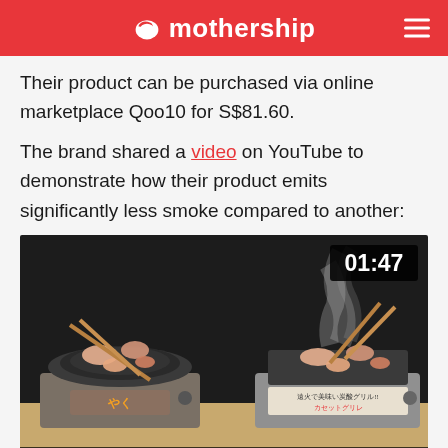mothership
Their product can be purchased via online marketplace Qoo10 for S$81.60.
The brand shared a video on YouTube to demonstrate how their product emits significantly less smoke compared to another:
[Figure (screenshot): YouTube video thumbnail showing two portable gas grills side by side on a table. Left grill (スモークレス 焼肉グリル - smokeless yakiniku grill) has meat on it with no smoke. Right grill (従来品 - conventional product) has meat with visible smoke rising. Both grills have chopsticks holding meat. Video timestamp shows 01:47.]